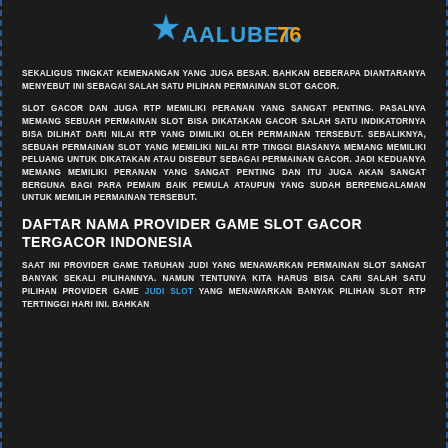[Figure (logo): AALUBET76 logo with blue star icon and stylized text in blue and gold colors]
SEKALIGUS TINGKAT KEMENANGAN YANG JUGA BESAR. BAHKAN BEBERAPA DIANTARANYA MENYEBUT INI SEBAGAI SALAH SATU PILIHAN PERMAINAN SLOT GACOR.
SLOT GACOR DAN JUGA RTP MEMILIKI PERANAN YANG SANGAT PENTING. PASALNYA MEMANG SEBUAH PERMAINAN SLOT BISA DIKATAKAN GACOR SALAH SATU INDIKATORNYA BISA DILIHAT DARI NILAI RTP YANG DIMILIKI OLEH PERMAINAN TERSEBUT. SEBALIKNYA, SEBUAH PERMAINAN SLOT YANG MEMILIKI NILAI RTP TINGGI BIASANYA MEMANG MEMILIKI PELUANG UNTUK DIKATAKAN ATAU DISEBUT SEBAGAI PERMAINAN GACOR. JADI KEDUANYA MEMANG MEMILIKI PERANAN YANG SANGAT PENTING DAN ITU JUGA AKAN SANGAT BERGUNA BAGI PARA PEMAIN BAIK PEMULA ATAUPUN YANG SUDAH BERPENGALAMAN UNTUK MEMILIH PERMAINAN TERSEBUT.
DAFTAR NAMA PROVIDER GAME SLOT GACOR TERGACOR INDONESIA
SAAT INI PROVIDER GAME TARUHAN JUDI YANG MENAWARKAN PERMAINAN SLOT SANGAT BANYAK SEKALI PILIHANNYA. NAMUN TENTUNYA KITA HARUS BISA CARI SALAH SATU PILIHAN PROVIDER GAME JUDI SLOT YANG MENAWARKAN BANYAK PILIHAN SLOT RTP TERTINGGI HARI INI. BAHKAN